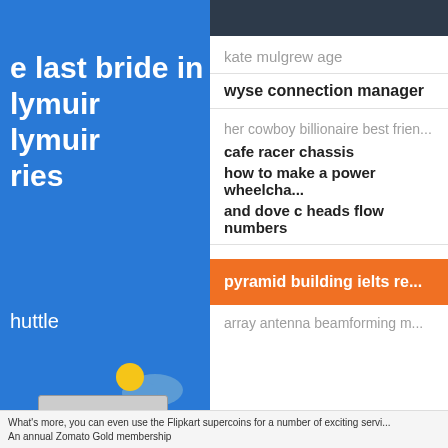[Figure (screenshot): Screenshot of a browser with two overlapping panels. Left side shows a blue app panel with white bold text ('e last bride in lymuir', 'lymuir', 'ries', 'huttle') and a weather/phone illustration. Right side shows a white search results or autocomplete list panel with items: 'kate mulgrew age', 'wyse connection manager', 'her cowboy billionaire best frien...', 'cafe racer chassis', 'how to make a power wheelcha...', 'and dove c heads flow numbers', an orange button 'pyramid building ielts re...', and 'array antenna beamforming m...' Bottom bar shows Flipkart text.]
e last bride in lymuir lymuir ries
huttle
kate mulgrew age
wyse connection manager
her cowboy billionaire best frien...
cafe racer chassis
how to make a power wheelcha...
and dove c heads flow numbers
pyramid building ielts re...
array antenna beamforming m...
What's more, you can even use the Flipkart supercoins for a number of exciting servi... An annual Zomato Gold membership